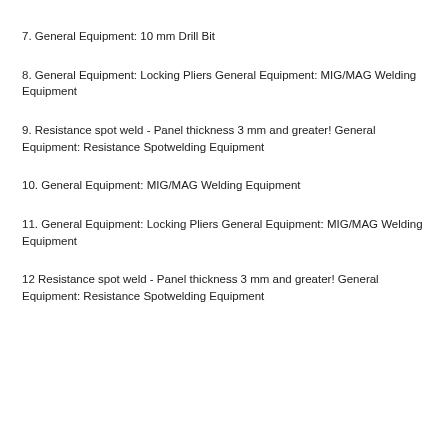7. General Equipment: 10 mm Drill Bit
8. General Equipment: Locking Pliers General Equipment: MIG/MAG Welding Equipment
9. Resistance spot weld - Panel thickness 3 mm and greater! General Equipment: Resistance Spotwelding Equipment
10. General Equipment: MIG/MAG Welding Equipment
11. General Equipment: Locking Pliers General Equipment: MIG/MAG Welding Equipment
12 Resistance spot weld - Panel thickness 3 mm and greater! General Equipment: Resistance Spotwelding Equipment